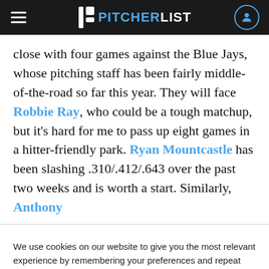PITCHERLIST
close with four games against the Blue Jays, whose pitching staff has been fairly middle-of-the-road so far this year. They will face Robbie Ray, who could be a tough matchup, but it's hard for me to pass up eight games in a hitter-friendly park. Ryan Mountcastle has been slashing .310/.412/.643 over the past two weeks and is worth a start. Similarly, Anthony
We use cookies on our website to give you the most relevant experience by remembering your preferences and repeat visits.